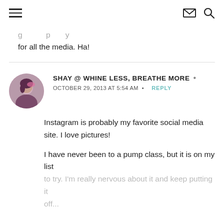[hamburger menu] [envelope icon] [search icon]
for all the media. Ha!
SHAY @ WHINE LESS, BREATHE MORE · OCTOBER 29, 2013 AT 5:54 AM · REPLY
Instagram is probably my favorite social media site. I love pictures!
I have never been to a pump class, but it is on my list to try. I'm really nervous about it and keep putting it off...
[Figure (photo): User avatar photo of Shay, circular cropped, showing a woman]